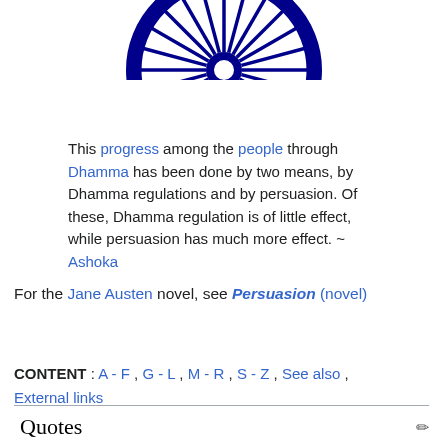[Figure (illustration): Ashoka Wheel (Dharma Chakra) — dark navy blue circular wheel with 24 spokes, partially cropped at the top of the page, centered horizontally]
This progress among the people through Dhamma has been done by two means, by Dhamma regulations and by persuasion. Of these, Dhamma regulation is of little effect, while persuasion has much more effect. ~ Ashoka
For the Jane Austen novel, see Persuasion (novel)
CONTENT : A - F , G - L , M - R , S - Z , See also , External links
Quotes
External links